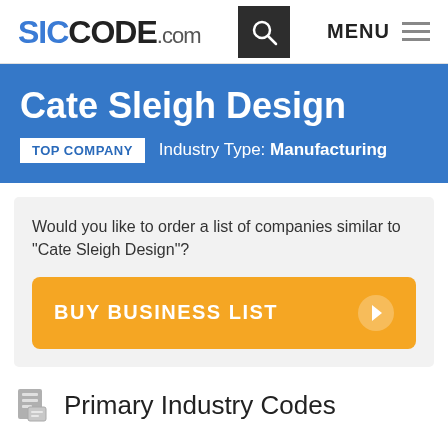SICCODE.com — MENU
Cate Sleigh Design
TOP COMPANY   Industry Type: Manufacturing
Would you like to order a list of companies similar to "Cate Sleigh Design"?
BUY BUSINESS LIST
Primary Industry Codes